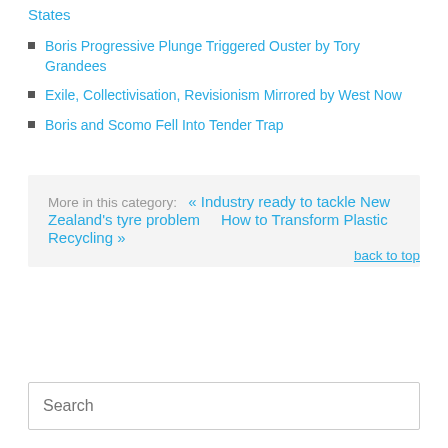States
Boris Progressive Plunge Triggered Ouster by Tory Grandees
Exile, Collectivisation, Revisionism Mirrored by West Now
Boris and Scomo Fell Into Tender Trap
More in this category:   « Industry ready to tackle New Zealand's tyre problem      How to Transform Plastic Recycling »
back to top
Search